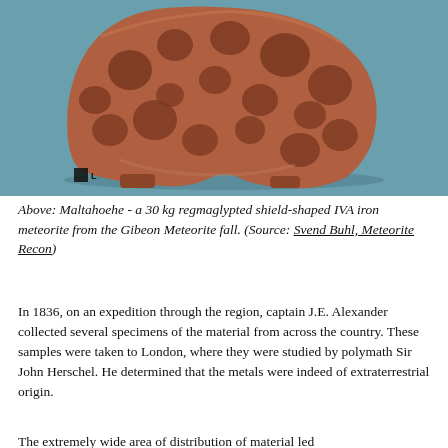[Figure (photo): Photograph of the Maltahoehe meteorite — a 30 kg regmaglypted shield-shaped IVA iron meteorite from the Gibeon Meteorite fall. The specimen is reddish-brown with deep pitted surface texture, photographed against a teal/steel-blue background. A small scale marker is visible in the lower left.]
Above: Maltahoehe - a 30 kg regmaglypted shield-shaped IVA iron meteorite from the Gibeon Meteorite fall. (Source: Svend Buhl, Meteorite Recon)
In 1836, on an expedition through the region, captain J.E. Alexander collected several specimens of the material from across the country. These samples were taken to London, where they were studied by polymath Sir John Herschel. He determined that the metals were indeed of extraterrestrial origin.
The extremely wide area of distribution of material led